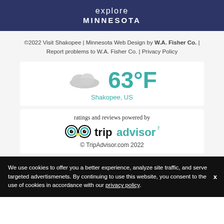explore MINNESOTA
©2022 Visit Shakopee | Minnesota Web Design by W.A. Fisher Co. | Report problems to W.A. Fisher Co. | Privacy Policy
[Figure (infographic): Weather widget showing a cloud icon and temperature of 63°F with location Shakopee, US]
[Figure (logo): TripAdvisor logo with owl eyes icon and text 'tripadvisor' in mixed black and green, with tagline 'ratings and reviews powered by' and copyright '© TripAdvisor.com 2022']
We use cookies to offer you a better experience, analyze site traffic, and serve targeted advertismenets. By continuing to use this website, you consent to the use of cookies in accordance with our privacy policy.